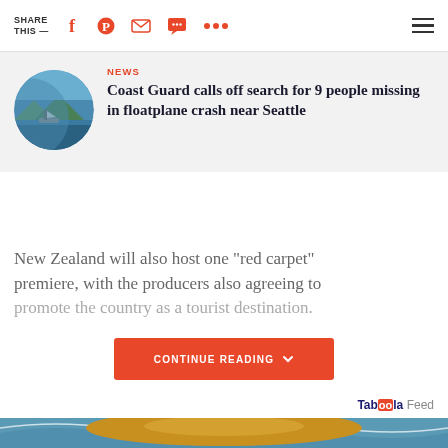SHARE THIS —
NEWS
Coast Guard calls off search for 9 people missing in floatplane crash near Seattle
New Zealand will also host one "red carpet" premiere, with the producers also agreeing to promote the country as a tourist destination.
CONTINUE READING
Taboola Feed
[Figure (photo): Woman with wide-brim hat at the beach, smiling, holding something blue]